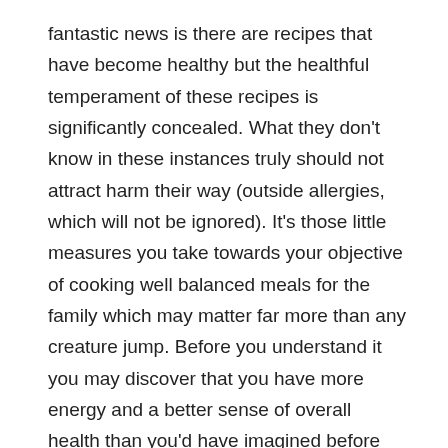fantastic news is there are recipes that have become healthy but the healthful temperament of these recipes is significantly concealed. What they don't know in these instances truly should not attract harm their way (outside allergies, which will not be ignored). It's those little measures you take towards your objective of cooking well balanced meals for the family which may matter far more than any creature jump. Before you understand it you may discover that you have more energy and a better sense of overall health than you'd have imagined before changing your cooking habits. If that isn't enough to support you nevertheless, you can check out the excuse to shop for new clothes after you lose a size or 2.
After seeing this procedure, now you are near enough to be able to make your first amazing Mango custard with real mangoes #MANGO TANGO and be a chunck of the minority people that can produce the phenomenal Mango custard with real mangoes #MANGO TANGO. If you hope that your families can also cook a